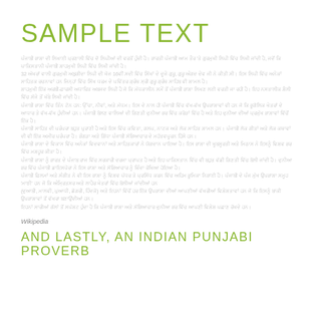SAMPLE TEXT
ਪੰਜਾਬੀ ਭਾਸ਼ਾ ਦੀ ਲਿਖਾਈ ਪ੍ਰਣਾਲੀ ਵਿੱਚ ਦੋ ਲਿਪੀਆਂ ਦੀ ਵਰਤੋਂ ਹੁੰਦੀ ਹੈ। ਭਾਰਤੀ ਪੰਜਾਬੀ ਆਮ ਤੌਰ 'ਤੇ ਗੁਰਮੁਖੀ ਲਿਪੀ ਵਿੱਚ ਲਿਖੀ ਜਾਂਦੀ ਹੈ, ਜਦੋਂ ਕਿ ਪਾਕਿਸਤਾਨੀ ਪੰਜਾਬੀ ਸ਼ਾਹਮੁਖੀ ਲਿਪੀ ਵਿੱਚ ਲਿਖੀ ਜਾਂਦੀ ਹੈ। 32 ਅੱਖਰਾਂ ਵਾਲੀ ਗੁਰਮੁਖੀ ਅਬੁਗੀਦਾ ਲਿਪੀ ਦੀ ਖੋਜ 16ਵੀਂ ਸਦੀ ਵਿੱਚ ਸਿੱਖਾਂ ਦੇ ਦੂਜੇ ਗੁਰੂ, ਗੁਰੂ ਅੰਗਦ ਦੇਵ ਜੀ ਨੇ ਕੀਤੀ ਸੀ। ਇਸ ਲਿਪੀ ਵਿੱਚ ਅਨੇਕਾਂ ਸਾਹਿਤਕ ਰਚਨਾਵਾਂ ਹਨ ਜਿਨ੍ਹਾਂ ਵਿੱਚ ਸਿੱਖ ਧਰਮ ਦੇ ਪਵਿੱਤਰ ਗ੍ਰੰਥ ਸ੍ਰੀ ਗੁਰੂ ਗ੍ਰੰਥ ਸਾਹਿਬ ਵੀ ਸ਼ਾਮਲ ਹੈ। ਸ਼ਾਹਮੁਖੀ ਇੱਕ ਅਰਬੀ-ਫ਼ਾਰਸੀ ਅਧਾਰਿਤ ਅਬਜਦ ਲਿਪੀ ਹੈ ਜੋ ਕਿ ਮੱਧਕਾਲੀਨ ਸਮੇਂ ਤੋਂ ਪੰਜਾਬੀ ਭਾਸ਼ਾ ਲਿਖਣ ਲਈ ਵਰਤੀ ਜਾ ਰਹੀ ਹੈ। ਇਹ ਨਸਤਾਲੀਕ ਸ਼ੈਲੀ ਵਿੱਚ ਸੱਜੇ ਤੋਂ ਖੱਬੇ ਲਿਖੀ ਜਾਂਦੀ ਹੈ। ਪੰਜਾਬੀ ਭਾਸ਼ਾ ਵਿੱਚ ਤਿੰਨ ਟੋਨ ਹਨ: ਉੱਚਾ, ਨੀਵਾਂ, ਅਤੇ ਮੱਧਮ। ਇਸ ਦੇ ਨਾਲ ਹੀ ਪੰਜਾਬੀ ਵਿੱਚ ਵੱਖ-ਵੱਖ ਉਪਭਾਸ਼ਾਵਾਂ ਵੀ ਹਨ ਜੋ ਕਿ ਭੂਗੋਲਿਕ ਖੇਤਰਾਂ ਦੇ ਆਧਾਰ ਤੇ ਵੱਖ-ਵੱਖ ਹੁੰਦੀਆਂ ਹਨ। ਪੰਜਾਬੀ ਬੋਲਣ ਵਾਲਿਆਂ ਦੀ ਗਿਣਤੀ ਦੁਨੀਆ ਭਰ ਵਿੱਚ ਕਰੋੜਾਂ ਵਿੱਚ ਹੈ ਅਤੇ ਇਹ ਦੁਨੀਆ ਦੀਆਂ ਪ੍ਰਮੁੱਖ ਭਾਸ਼ਾਵਾਂ ਵਿੱਚੋਂ ਇੱਕ ਹੈ। ਪੰਜਾਬੀ ਸਾਹਿਤ ਦੀ ਪਰੰਪਰਾ ਬਹੁਤ ਪੁਰਾਣੀ ਹੈ ਅਤੇ ਇਸ ਵਿੱਚ ਕਵਿਤਾ, ਗਲਪ, ਨਾਟਕ ਅਤੇ ਲੋਕ ਸਾਹਿਤ ਸ਼ਾਮਲ ਹਨ। ਪੰਜਾਬੀ ਲੋਕ ਗੀਤਾਂ ਅਤੇ ਲੋਕ ਕਥਾਵਾਂ ਦੀ ਵੀ ਇੱਕ ਅਮੀਰ ਪਰੰਪਰਾ ਹੈ। ਭੰਗੜਾ ਅਤੇ ਗਿੱਧਾ ਪੰਜਾਬੀ ਸੱਭਿਆਚਾਰ ਦੇ ਮਹੱਤਵਪੂਰਨ ਹਿੱਸੇ ਹਨ। ਪੰਜਾਬੀ ਭਾਸ਼ਾ ਦੇ ਵਿਕਾਸ ਵਿੱਚ ਅਨੇਕਾਂ ਵਿਦਵਾਨਾਂ ਅਤੇ ਸਾਹਿਤਕਾਰਾਂ ਨੇ ਯੋਗਦਾਨ ਪਾਇਆ ਹੈ। ਇਸ ਭਾਸ਼ਾ ਦੀ ਖੂਬਸੂਰਤੀ ਅਤੇ ਮਿਠਾਸ ਨੇ ਇਸਨੂੰ ਵਿਸ਼ਵ ਭਰ ਵਿੱਚ ਮਸ਼ਹੂਰ ਕੀਤਾ ਹੈ। ਪੰਜਾਬੀ ਭਾਸ਼ਾ ਨੂੰ ਭਾਰਤ ਦੇ ਪੰਜਾਬ ਰਾਜ ਵਿੱਚ ਸਰਕਾਰੀ ਦਰਜਾ ਪ੍ਰਾਪਤ ਹੈ ਅਤੇ ਇਹ ਪਾਕਿਸਤਾਨ ਵਿੱਚ ਵੀ ਬਹੁਤ ਵੱਡੀ ਗਿਣਤੀ ਵਿੱਚ ਬੋਲੀ ਜਾਂਦੀ ਹੈ। ਦੁਨੀਆ ਭਰ ਵਿੱਚ ਪੰਜਾਬੀ ਡਾਇਸਪੋਰਾ ਨੇ ਇਸ ਭਾਸ਼ਾ ਅਤੇ ਸੱਭਿਆਚਾਰ ਨੂੰ ਜ਼ਿੰਦਾ ਰੱਖਿਆ ਹੋਇਆ ਹੈ। ਪੰਜਾਬੀ ਫ਼ਿਲਮਾਂ ਅਤੇ ਸੰਗੀਤ ਨੇ ਵੀ ਇਸ ਭਾਸ਼ਾ ਨੂੰ ਵਿਸ਼ਵ ਪੱਧਰ ਤੇ ਪ੍ਰਸਿੱਧ ਕਰਨ ਵਿੱਚ ਅਹਿਮ ਭੂਮਿਕਾ ਨਿਭਾਈ ਹੈ। ਪੰਜਾਬੀ ਦੇ ਪੰਜ ਮੁੱਖ ਉਪਭਾਸ਼ਾ ਸਮੂਹ 'ਮਾਝੀ' ਹਨ ਜੋ ਕਿ ਅੰਮ੍ਰਿਤਸਰ ਅਤੇ ਲਾਹੌਰ ਖੇਤਰਾਂ ਵਿੱਚ ਬੋਲੀਆਂ ਜਾਂਦੀਆਂ ਹਨ (ਦੁਆਬੀ, ਮਾਲਵੀ, ਪੁਆਧੀ, ਡੋਗਰੀ, ਹਿੰਦਕੋ) ਅਤੇ ਇਹਨਾਂ ਵਿੱਚੋਂ ਹਰ ਇੱਕ ਉਪਭਾਸ਼ਾ ਦੀਆਂ ਆਪਣੀਆਂ ਵੱਖਰੀਆਂ ਵਿਸ਼ੇਸ਼ਤਾਵਾਂ ਹਨ ਜੋ ਕਿ ਇਸਨੂੰ ਬਾਕੀ ਉਪਭਾਸ਼ਾਵਾਂ ਤੋਂ ਵੱਖਰਾ ਬਣਾਉਂਦੀਆਂ ਹਨ।
Wikipedia
AND LASTLY, AN INDIAN PUNJABI PROVERB